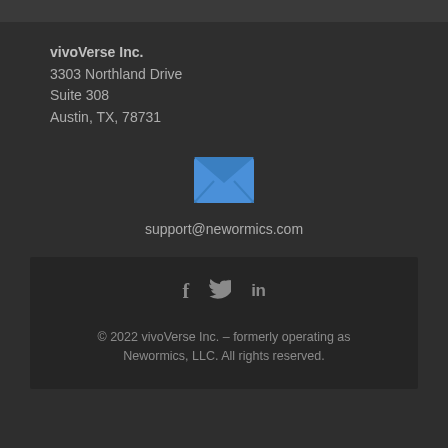vivoVerse Inc.
3303 Northland Drive
Suite 308
Austin, TX, 78731
[Figure (illustration): Blue envelope/email icon]
support@newormics.com
[Figure (illustration): Social media icons: Facebook (f), Twitter (bird), LinkedIn (in)]
© 2022 vivoVerse Inc. – formerly operating as Newormics, LLC. All rights reserved.